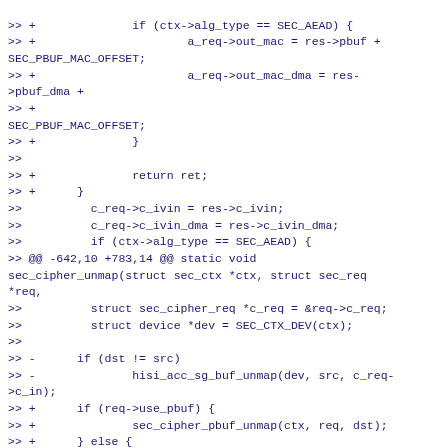[Figure (other): Code diff snippet showing changes to sec_cipher_unmap and related functions in C source code]